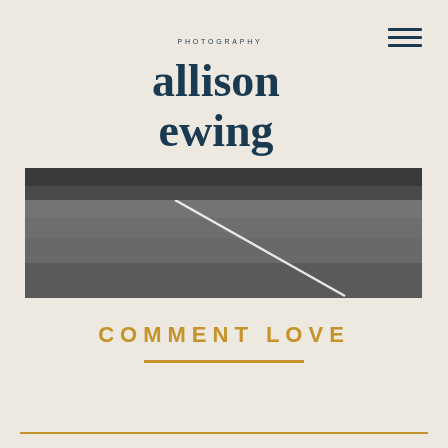[Figure (logo): Allison Ewing Photography logo with stylized serif text 'allison ewing' in dark navy and circular 'PHOTOGRAPHY' text above]
[Figure (photo): Black and white photograph of a concrete or asphalt surface (likely a sports court or road) with a diagonal white line visible]
COMMENT LOVE
[Figure (other): Gold horizontal decorative underline beneath 'COMMENT LOVE' heading]